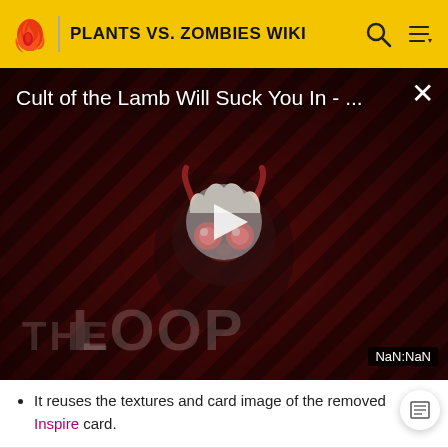PLANTS VS. ZOMBIES WIKI
[Figure (screenshot): Video overlay showing 'Cult of the Lamb Will Suck You In - ...' with a cartoon demon creature character, play button, THE LOOP watermark, and NaN:NaN timestamp badge on dark diagonal striped background]
It reuses the textures and card image of the removed Inspire card.
| V • T • E | Plants in Plants vs. Zombies Heroes |
| --- | --- |
|  | Guardian | [Show] |
| --- | --- | --- |